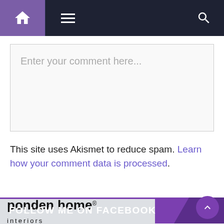Navigation bar with home icon, menu icon, and search icon
Enter your comment here...
This site uses Akismet to reduce spam. Learn how your comment data is processed.
FOLLOW ME ON FACEBOOK
[Figure (logo): Ponden Home Interiors logo with interior room background image]